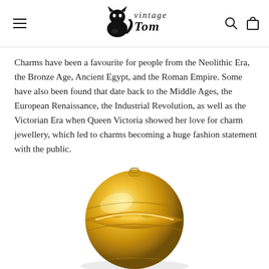Vintage Tom — navigation header with logo, hamburger menu, search, and cart icons
Charms have been a favourite for people from the Neolithic Era, the Bronze Age, Ancient Egypt, and the Roman Empire. Some have also been found that date back to the Middle Ages, the European Renaissance, the Industrial Revolution, as well as the Victorian Era when Queen Victoria showed her love for charm jewellery, which led to charms becoming a huge fashion statement with the public.
[Figure (photo): Close-up photo of an ornate gold charm or locket, spherical in shape with intricate engraved decorative patterns, photographed against a white background, partially cropped at the bottom of the page.]